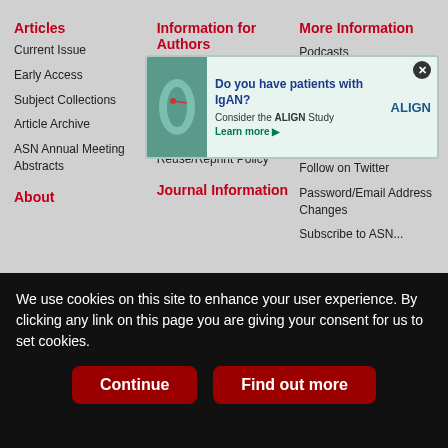Articles
Current Issue
Early Access
Subject Collections
Article Archive
ASN Annual Meeting Abstracts
Information for Authors
Author Resources
Editorial Fellowship Program
ASN Journal Policies
Reuse/Reprint Policy
More Information
Podcasts
ASN Publications
Become an ASN Member
Feedback
Follow on Twitter
Password/Email Address Changes
Subscribe to ASN
About
Journal Information
[Figure (infographic): Advertisement banner: Do you have patients with IgAN? Consider the ALIGN Study. Learn more. With kidney illustration and ALIGN logo.]
We use cookies on this site to enhance your user experience. By clicking any link on this page you are giving your consent for us to set cookies.
Continue
Find out more